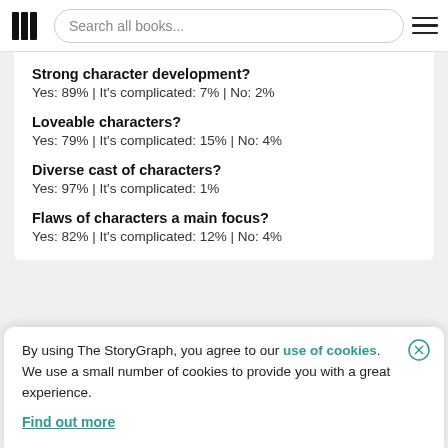Search all books...
Strong character development?
Yes: 89% | It's complicated: 7% | No: 2%
Loveable characters?
Yes: 79% | It's complicated: 15% | No: 4%
Diverse cast of characters?
Yes: 97% | It's complicated: 1%
Flaws of characters a main focus?
Yes: 82% | It's complicated: 12% | No: 4%
By using The StoryGraph, you agree to our use of cookies.
We use a small number of cookies to provide you with a great experience.
Find out more